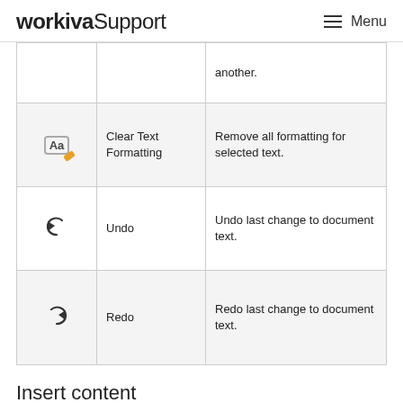workiva Support  Menu
|  |  | another. |
| [Aa icon] | Clear Text Formatting | Remove all formatting for selected text. |
| [undo arrow] | Undo | Undo last change to document text. |
| [redo arrow] | Redo | Redo last change to document text. |
Insert content
|  |  |  |